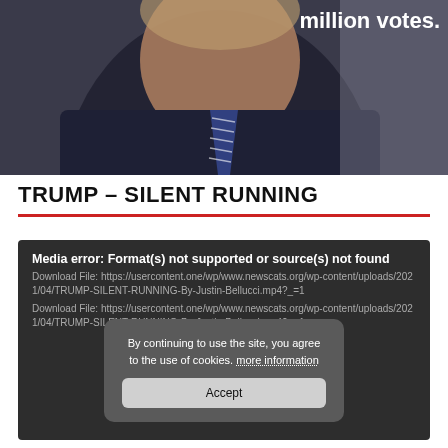[Figure (photo): Photograph of a man in a dark suit and striped tie with overlaid white bold text reading 'million votes.' in the upper right corner]
TRUMP – SILENT RUNNING
Media error: Format(s) not supported or source(s) not found
Download File: https://usercontent.one/wp/www.newscats.org/wp-content/uploads/2021/04/TRUMP-SILENT-RUNNING-By-Justin-Bellucci.mp4?_=1
Download File: https://usercontent.one/wp/www.newscats.org/wp-content/uploads/2021/04/TRUMP-SILENT-RUNNING-By-Justin-Bellucci.mp4?_=1
By continuing to use the site, you agree to the use of cookies. more information
Accept